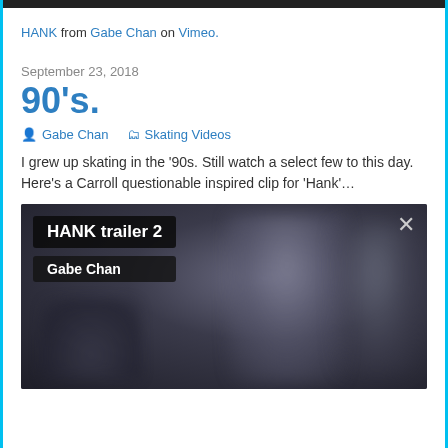HANK from Gabe Chan on Vimeo.
September 23, 2018
90's.
Gabe Chan   Skating Videos
I grew up skating in the '90s. Still watch a select few to this day. Here’s a Carroll questionable inspired clip for ‘Hank’…
[Figure (screenshot): Video player thumbnail showing blurred skaters with overlay labels 'HANK trailer 2' and 'Gabe Chan', and an X close button.]